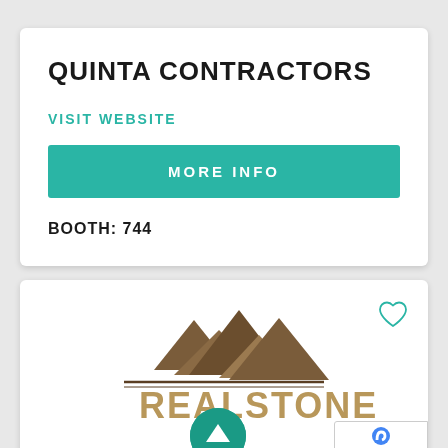QUINTA CONTRACTORS
VISIT WEBSITE
MORE INFO
BOOTH: 744
[Figure (logo): RealStone Veneers logo with mountain silhouette illustration above stylized text REALSTONE partially visible, with a teal circular scroll-up button overlay]
ivacy · Terms